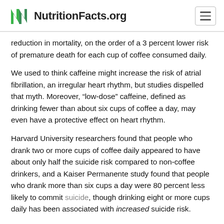NutritionFacts.org
reduction in mortality, on the order of a 3 percent lower risk of premature death for each cup of coffee consumed daily.
We used to think caffeine might increase the risk of atrial fibrillation, an irregular heart rhythm, but studies dispelled that myth. Moreover, “low-dose” caffeine, defined as drinking fewer than about six cups of coffee a day, may even have a protective effect on heart rhythm.
Harvard University researchers found that people who drank two or more cups of coffee daily appeared to have about only half the suicide risk compared to non-coffee drinkers, and a Kaiser Permanente study found that people who drank more than six cups a day were 80 percent less likely to commit suicide, though drinking eight or more cups daily has been associated with increased suicide risk.